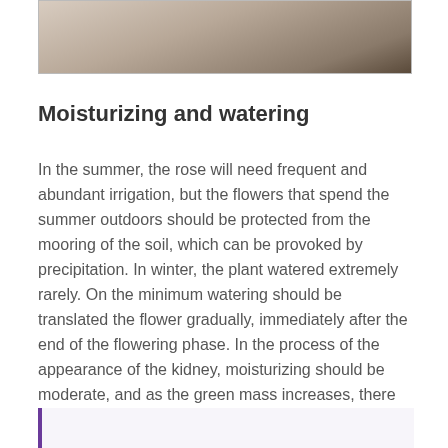[Figure (photo): Partial photo showing a person or plant, cropped at top of page]
Moisturizing and watering
In the summer, the rose will need frequent and abundant irrigation, but the flowers that spend the summer outdoors should be protected from the mooring of the soil, which can be provoked by precipitation. In winter, the plant watered extremely rarely. On the minimum watering should be translated the flower gradually, immediately after the end of the flowering phase. In the process of the appearance of the kidney, moisturizing should be moderate, and as the green mass increases, there may be more moisture.